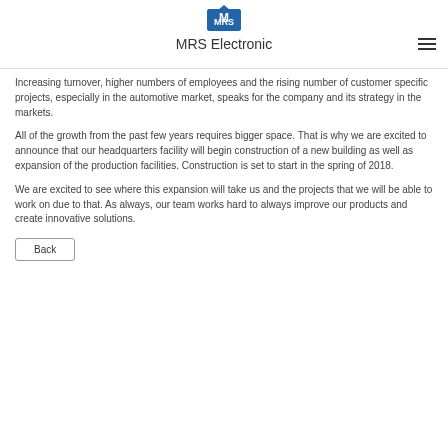MRS Electronic
Increasing turnover, higher numbers of employees and the rising number of customer specific projects, especially in the automotive market, speaks for the company and its strategy in the markets.
All of the growth from the past few years requires bigger space. That is why we are excited to announce that our headquarters facility will begin construction of a new building as well as expansion of the production facilities. Construction is set to start in the spring of 2018.
We are excited to see where this expansion will take us and the projects that we will be able to work on due to that. As always, our team works hard to always improve our products and create innovative solutions.
Back